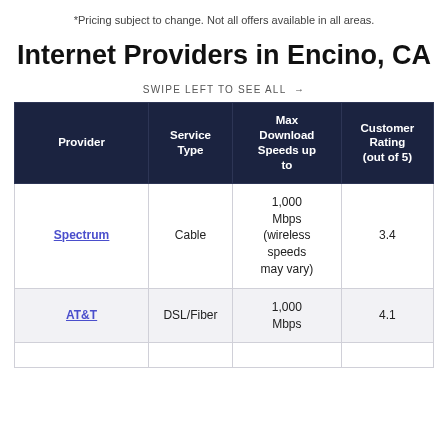*Pricing subject to change. Not all offers available in all areas.
Internet Providers in Encino, CA
SWIPE LEFT TO SEE ALL →
| Provider | Service Type | Max Download Speeds up to | Customer Rating (out of 5) |
| --- | --- | --- | --- |
| Spectrum | Cable | 1,000 Mbps (wireless speeds may vary) | 3.4 |
| AT&T | DSL/Fiber | 1,000 Mbps | 4.1 |
|  |  |  |  |